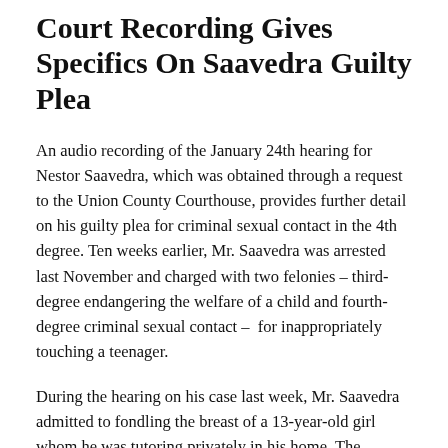Court Recording Gives Specifics On Saavedra Guilty Plea
An audio recording of the January 24th hearing for Nestor Saavedra, which was obtained through a request to the Union County Courthouse, provides further detail on his guilty plea for criminal sexual contact in the 4th degree. Ten weeks earlier, Mr. Saavedra was arrested last November and charged with two felonies – third-degree endangering the welfare of a child and fourth-degree criminal sexual contact –  for inappropriately touching a teenager.
During the hearing on his case last week, Mr. Saavedra admitted to fondling the breast of a 13-year-old girl whom he was tutoring privately in his home. The incident occurred on November 6th according to the court proceedings. Ten days later...